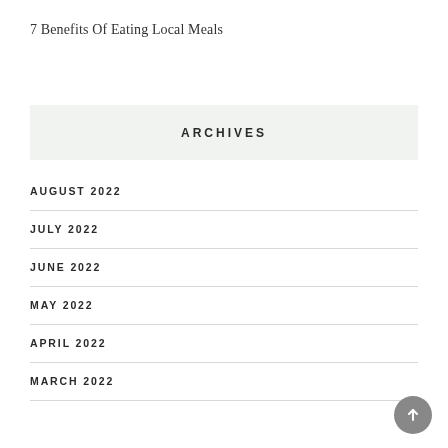7 Benefits Of Eating Local Meals
ARCHIVES
AUGUST 2022
JULY 2022
JUNE 2022
MAY 2022
APRIL 2022
MARCH 2022